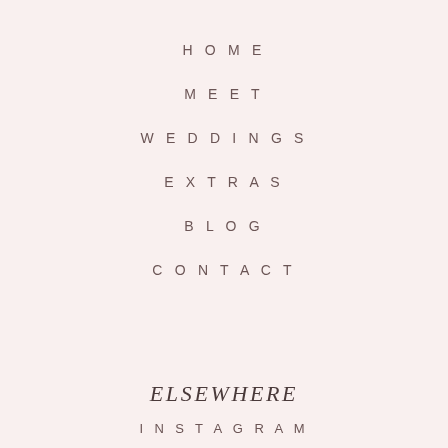HOME
MEET
WEDDINGS
EXTRAS
BLOG
CONTACT
ELSEWHERE
INSTAGRAM